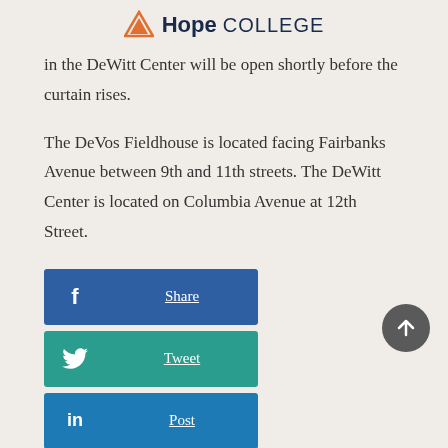Hope COLLEGE
in the DeWitt Center will be open shortly before the curtain rises.
The DeVos Fieldhouse is located facing Fairbanks Avenue between 9th and 11th streets. The DeWitt Center is located on Columbia Avenue at 12th Street.
[Figure (other): Social share buttons: Facebook Share, Twitter Tweet, LinkedIn Post]
[Figure (other): Scroll-to-top circular button with upward arrow]